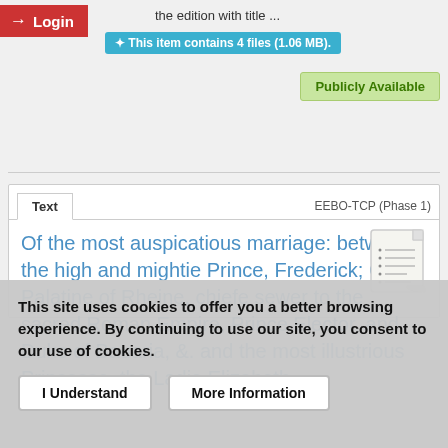Login
the edition with title ...
This item contains 4 files (1.06 MB).
Publicly Available
Text | EEBO-TCP (Phase 1)
Of the most auspicatious marriage: betwixt, the high and mightie Prince, Frederick; Count Palatine of Rheine, chiefe sewer to the sacred Roman Empire, Prince Elector, and Duke of Bauaria, &. and the most illustrious Princesse, the Ladie Elizabeth
[Figure (illustration): Document/note icon thumbnail]
This site uses cookies to offer you a better browsing experience. By continuing to use our site, you consent to our use of cookies.
I Understand
More Information